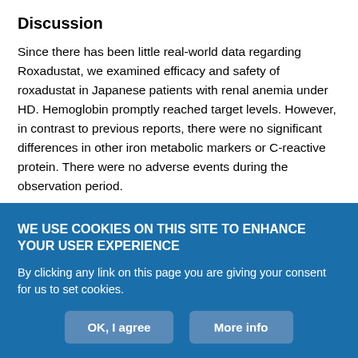Discussion
Since there has been little real-world data regarding Roxadustat, we examined efficacy and safety of roxadustat in Japanese patients with renal anemia under HD. Hemoglobin promptly reached target levels. However, in contrast to previous reports, there were no significant differences in other iron metabolic markers or C-reactive protein. There were no adverse events during the observation period.
It is reported that concomitant changes in ESAs, hepcidin and iron indices showed that erythropoiesis was regulated by a decrease in hepcidin and an increase in transferrin saturation, improving the iron
WE USE COOKIES ON THIS SITE TO ENHANCE YOUR USER EXPERIENCE
By clicking any link on this page you are giving your consent for us to set cookies.